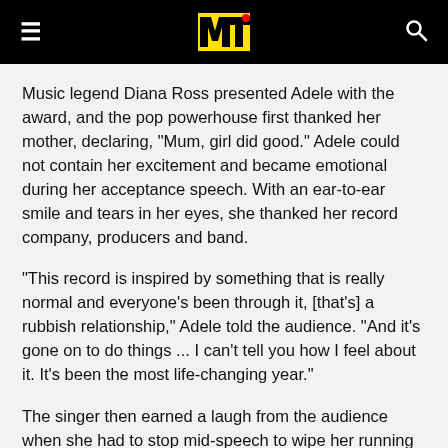MTV
Music legend Diana Ross presented Adele with the award, and the pop powerhouse first thanked her mother, declaring, "Mum, girl did good." Adele could not contain her excitement and became emotional during her acceptance speech. With an ear-to-ear smile and tears in her eyes, she thanked her record company, producers and band.
"This record is inspired by something that is really normal and everyone's been through it, [that's] a rubbish relationship," Adele told the audience. "And it's gone on to do things ... I can't tell you how I feel about it. It's been the most life-changing year."
The singer then earned a laugh from the audience when she had to stop mid-speech to wipe her running nose...